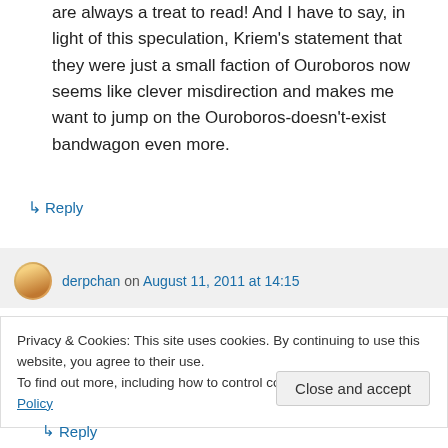are always a treat to read! And I have to say, in light of this speculation, Kriem's statement that they were just a small faction of Ouroboros now seems like clever misdirection and makes me want to jump on the Ouroboros-doesn't-exist bandwagon even more.
↳ Reply
derpchan on August 11, 2011 at 14:15
Privacy & Cookies: This site uses cookies. By continuing to use this website, you agree to their use.
To find out more, including how to control cookies, see here: Cookie Policy
Close and accept
↳ Reply